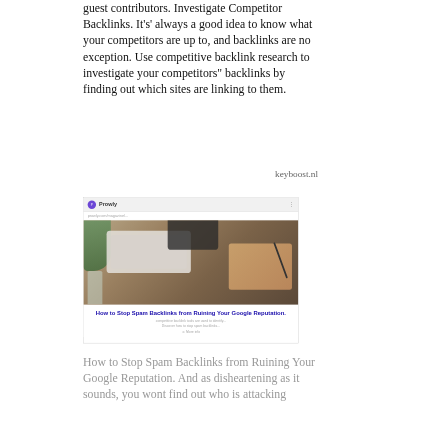guest contributors. Investigate Competitor Backlinks. It's' always a good idea to know what your competitors are up to, and backlinks are no exception. Use competitive backlink research to investigate your competitors" backlinks by finding out which sites are linking to them.
keyboost.nl
[Figure (screenshot): Screenshot of a Prowly article page showing a photograph of a desk with a keyboard and a person writing, with an article title overlay reading 'How to Stop Spam Backlinks from Ruining Your Google Reputation.']
How to Stop Spam Backlinks from Ruining Your Google Reputation. And as disheartening as it sounds, you wont find out who is attacking